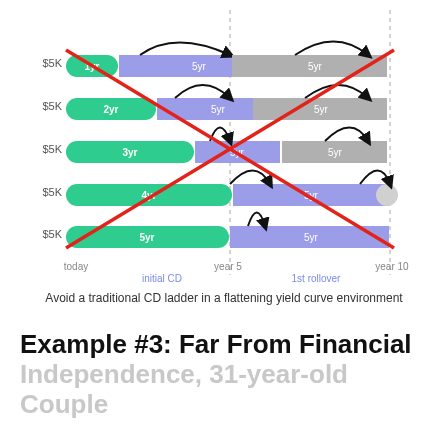[Figure (infographic): CD ladder diagram showing 5 rows of CDs ($5K each) with initial terms of 1yr, 2yr, 3yr, 4yr, 5yr (green bars) rolling over into 5yr CDs (purple bars) and then 5yr CDs (gray bars), with curved arrows showing rollovers, a large red X overlaid indicating to avoid this strategy, labeled 'today', 'year 5', 'year 10', 'initial CD', '1st rollover']
Avoid a traditional CD ladder in a flattening yield curve environment
Example #3: Far From Financial Independence, 31-year-old Couple